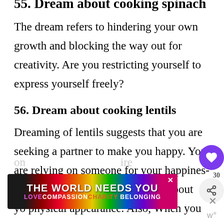55. Dream about cooking spinach
The dream refers to hindering your own growth and blocking the way out for creativity. Are you restricting yourself to express yourself freely?
56. Dream about cooking lentils
Dreaming of lentils suggests that you are seeking a partner to make you happy. You are relying on someone for your happiness. Aside from that, you are worried about your physical appearance. Also, When you work on...
[Figure (infographic): Advertisement banner with rainbow gradient background reading THE WORLD NEEDS YOU with subtext LOVE COMPASSION CHARITY BELONGING]